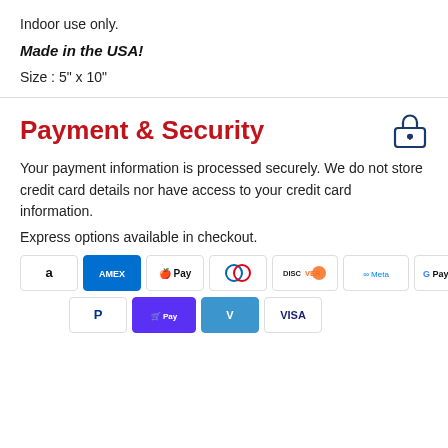Indoor use only.
Made in the USA!
Size : 5" x 10"
Payment & Security
Your payment information is processed securely. We do not store credit card details nor have access to your credit card information.
Express options available in checkout.
[Figure (logo): Payment method icons: Amazon, American Express, Apple Pay, Diners Club, Discover, Meta Pay, Google Pay, Mastercard, PayPal, Shop Pay, Venmo, Visa]